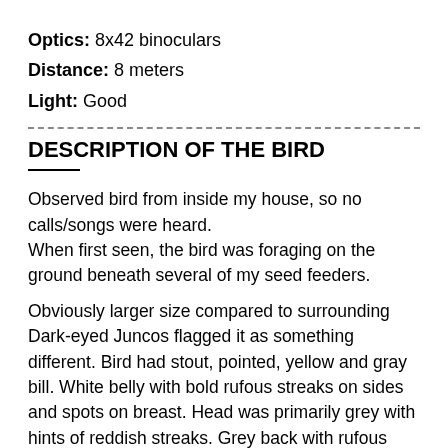Optics: 8x42 binoculars
Distance: 8 meters
Light: Good
DESCRIPTION OF THE BIRD
Observed bird from inside my house, so no calls/songs were heard.
When first seen, the bird was foraging on the ground beneath several of my seed feeders.
Obviously larger size compared to surrounding Dark-eyed Juncos flagged it as something different. Bird had stout, pointed, yellow and gray bill. White belly with bold rufous streaks on sides and spots on breast. Head was primarily grey with hints of reddish streaks. Grey back with rufous wings and tail.